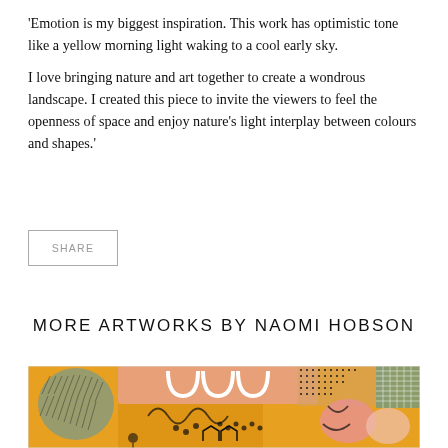'Emotion is my biggest inspiration. This work has optimistic tone like a yellow morning light waking to a cool early sky.

I love bringing nature and art together to create a wondrous landscape. I created this piece to invite the viewers to feel the openness of space and enjoy nature's light interplay between colours and shapes.'
SHARE
MORE ARTWORKS BY NAOMI HOBSON
[Figure (illustration): A colorful abstract artwork showing organic shapes, patterns, dots, and stylized trees and figures in warm orange, pink, green, and black tones — artwork by Naomi Hobson.]